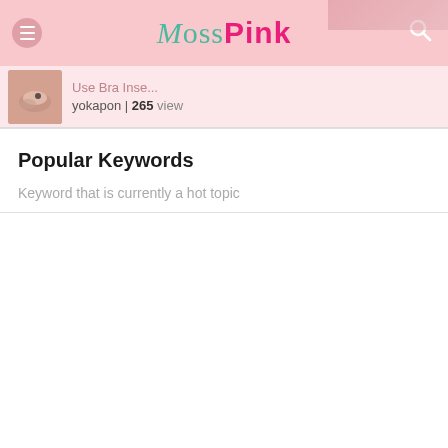MossPink
[Figure (screenshot): Search result thumbnail showing a hand holding a small dark object, pink background]
Use Bra Inse...
yokapon | 265 view
Popular Keywords
Keyword that is currently a hot topic